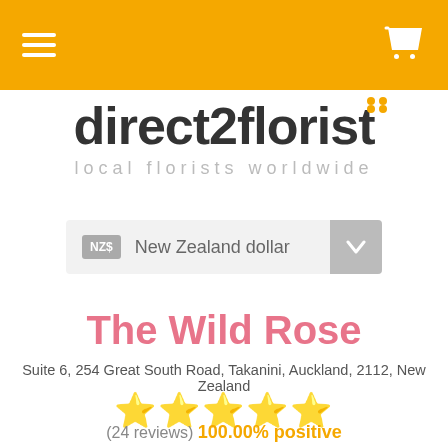[Figure (logo): direct2florist logo with orange dots above the letter i, tagline: local florists worldwide]
NZ$ New Zealand dollar
The Wild Rose
Suite 6, 254 Great South Road, Takanini, Auckland, 2112, New Zealand
[Figure (other): 5 gold stars rating]
(24 reviews) 100.00% positive